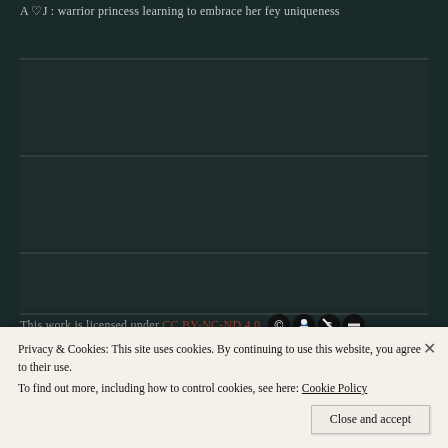A ♡J : warrior princess learning to embrace her fey uniqueness
This work is licensed under CC BY-NC-ND 4.0
Privacy & Cookies: This site uses cookies. By continuing to use this website, you agree to their use.
To find out more, including how to control cookies, see here: Cookie Policy
Close and accept